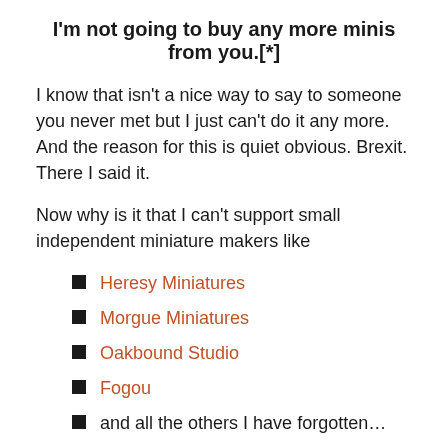I'm not going to buy any more minis from you.[*]
I know that isn't a nice way to say to someone you never met but I just can't do it any more. And the reason for this is quiet obvious. Brexit. There I said it.
Now why is it that I can't support small independent miniature makers like
Heresy Miniatures
Morgue Miniatures
Oakbound Studio
Fogou
and all the others I have forgotten…
any more? Well it boils down to money. I love the stuff you lot are doing and I know the UK has some of the most passionate and talented persons in our hobby. But since Brexit shipping has gone mental and it also adds